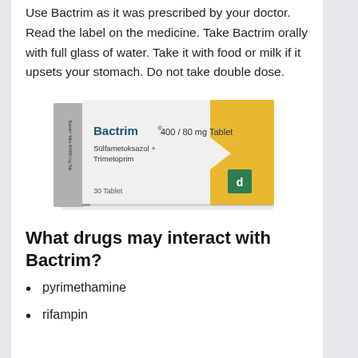Use Bactrim as it was prescribed by your doctor. Read the label on the medicine. Take Bactrim orally with full glass of water. Take it with food or milk if it upsets your stomach. Do not take double dose.
[Figure (photo): Photograph of a Bactrim 400/80 mg Tablet medicine box. The box is white with a yellow section on the right. Text on box: Bactrim 400/80 mg Tablet, Sülfametoksazol + Trimetoprim, 30 Tablet.]
What drugs may interact with Bactrim?
pyrimethamine
rifampin